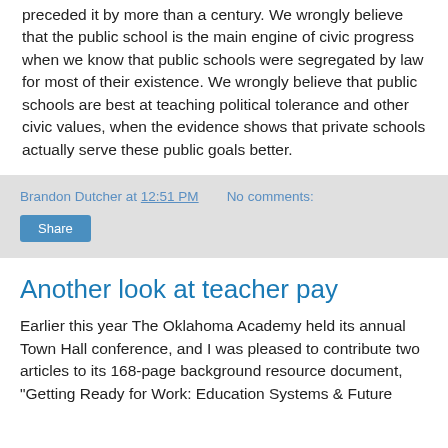preceded it by more than a century. We wrongly believe that the public school is the main engine of civic progress when we know that public schools were segregated by law for most of their existence. We wrongly believe that public schools are best at teaching political tolerance and other civic values, when the evidence shows that private schools actually serve these public goals better.
Brandon Dutcher at 12:51 PM   No comments:
Share
Another look at teacher pay
Earlier this year The Oklahoma Academy held its annual Town Hall conference, and I was pleased to contribute two articles to its 168-page background resource document, "Getting Ready for Work: Education Systems & Future